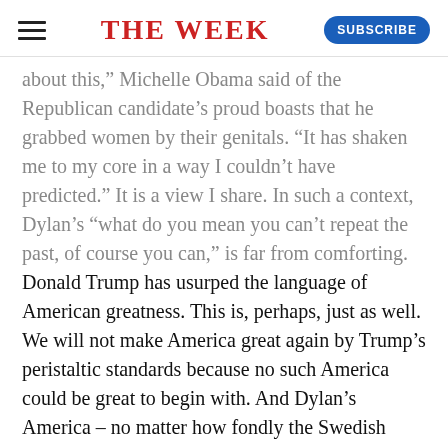THE WEEK
about this," Michelle Obama said of the Republican candidate's proud boasts that he grabbed women by their genitals. "It has shaken me to my core in a way I couldn't have predicted." It is a view I share. In such a context, Dylan's "what do you mean you can't repeat the past, of course you can," is far from comforting.
Donald Trump has usurped the language of American greatness. This is, perhaps, just as well. We will not make America great again by Trump's peristaltic standards because no such America could be great to begin with. And Dylan's America – no matter how fondly the Swedish Academy invites us to recall it – was little better.